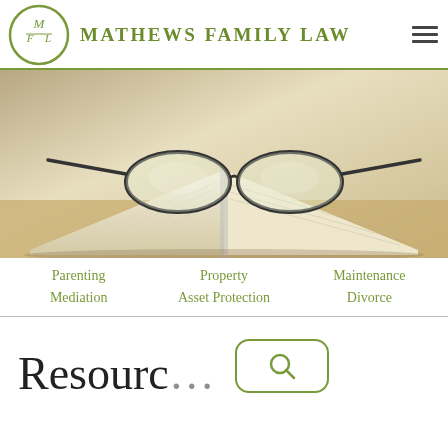MATHEWS FAMILY LAW
[Figure (photo): An open book with reading glasses resting on top, warm toned background, law firm hero image]
Parenting
Property
Maintenance
Mediation
Asset Protection
Divorce
Resourc